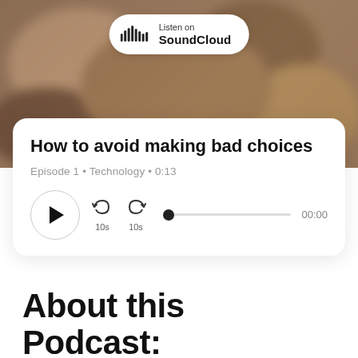[Figure (photo): Blurred background photo of a person lying down, warm brown tones]
[Figure (logo): SoundCloud badge with logo and Listen on SoundCloud text]
How to avoid making bad choices
Episode 1 • Technology • 0:13
[Figure (other): Audio player controls: play button, skip back 10s, skip forward 10s, progress bar at start, time 00:00]
About this Podcast: